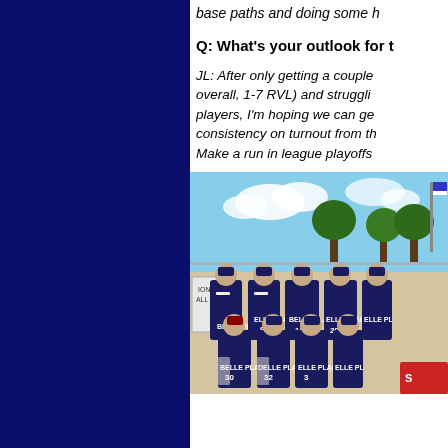base paths and doing some h
Q: What's your outlook for t
JL: After only getting a couple overall, 1-7 RVL) and struggli players, I'm hoping we can ge consistency on turnout from th Make a run in league playoffs
[Figure (photo): Team photo of Belle Plaine baseball players wearing dark navy jerseys with numbers including 9, 13, 29, 30, 32, 3. Players are posed in two rows outdoors near a chain-link fence with trees and a flag visible in background.]